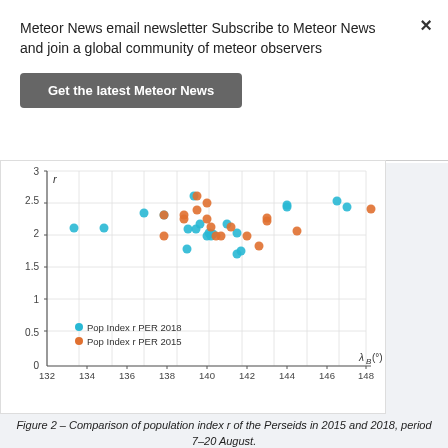Meteor News email newsletter Subscribe to Meteor News and join a global community of meteor observers
Get the latest Meteor News
[Figure (continuous-plot): Scatter plot comparing population index r of the Perseids in 2015 and 2018 over the period 7–20 August. X-axis shows solar longitude λ_B in degrees (132 to 148). Y-axis shows r values (0 to 3). Two series: cyan dots for Pop Index r PER 2018, orange dots for Pop Index r PER 2015. Data points cluster mostly between r=1.9 and r=2.7, with a few outliers.]
Figure 2 – Comparison of population index r of the Perseids in 2015 and 2018, period 7–20 August.